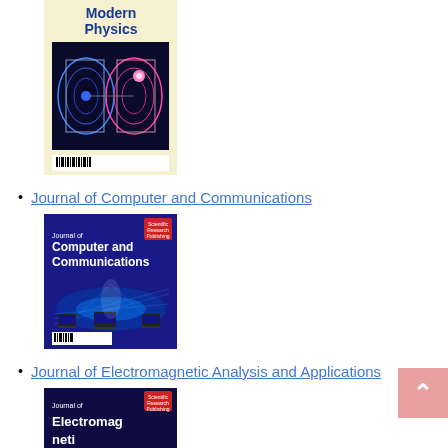[Figure (illustration): Journal cover of Modern Physics showing electromagnetic wave patterns in blue and pink on a cream/yellow background with barcode at bottom]
Journal of Computer and Communications
[Figure (illustration): Journal cover of Journal of Computer and Communications showing blue background with network technology imagery (laptops/computers connected by light beams) and white title text]
Journal of Electromagnetic Analysis and Applications
[Figure (illustration): Partial journal cover of Journal of Electromagnetic Analysis and Applications with dark blue background and white title text, partially visible at bottom of page]